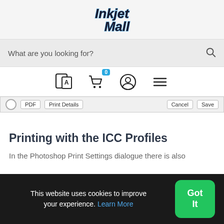[Figure (logo): InkjetMall logo in stylized italic font with blue shadow/outline effect]
What are you looking for?
[Figure (screenshot): Navigation icons: translate/language icon, shopping cart with badge '0', user/account icon, hamburger menu]
[Figure (screenshot): Partial toolbar strip with circle icon, PDF button, Print Details button, Cancel button, Save button]
Printing with the ICC Profiles
In the Photoshop Print Settings dialogue there is also
This website uses cookies to improve your experience. Learn More
Got It